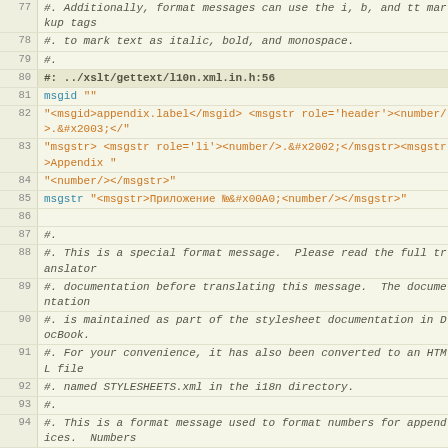Code listing lines 77-98 of a gettext/l10n XML translation file
77: #. Additionally, format messages can use the i, b, and tt markup tags
78: #. to mark text as italic, bold, and monospace.
79: #.
80: #: ../xslt/gettext/l10n.xml.in.h:56
81: msgid ""
82: "<msgid>appendix.label</msgid> <msgstr role='header'><number/>.&#x2003;</"
83: "msgstr> <msgstr role='li'><number/>.&#x2002;</msgstr><msgstr>Appendix "
84: "<number/></msgstr>"
85: msgstr "<msgstr>Приложение №&#x00A0;<number/></msgstr>"
86: (empty)
87: #.
88: #. This is a special format message.  Please read the full translator
89: #. documentation before translating this message.  The documentation
90: #. is maintained as part of the stylesheet documentation in DocBook.
91: #. For your convenience, it has also been converted to an HTML file
92: #. named STYLESHEETS.xml in the i18n directory.
93: #.
94: #. This is a format message used to format numbers for appendices.  Numbers
95: #. are used in labels, cross references, and any other place where the
96: #. appendix might be referenced.  The number for an appendix includes the
97: #. number for its parent element, if applicable.  For example, the number
98: #. 4.B indicates the second appendix in the fourth top-level element.  In